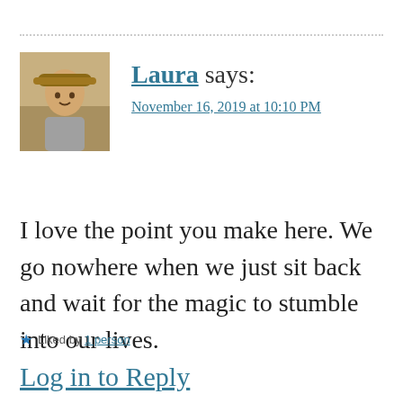[Figure (photo): Avatar photo of Laura, a woman wearing a hat outdoors]
Laura says:
November 16, 2019 at 10:10 PM
I love the point you make here. We go nowhere when we just sit back and wait for the magic to stumble into our lives.
★ Liked by 1 person
Log in to Reply